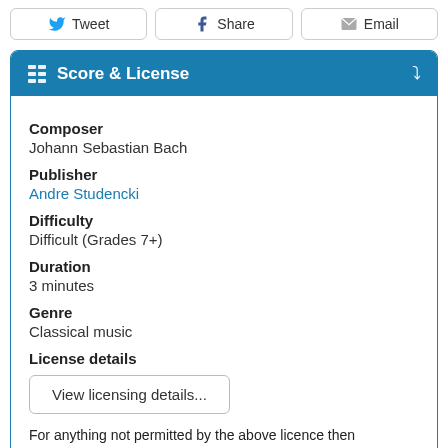[Figure (other): Share buttons row: Tweet, Share, Email]
Score & License
Composer
Johann Sebastian Bach
Publisher
Andre Studencki
Difficulty
Difficult (Grades 7+)
Duration
3 minutes
Genre
Classical music
License details
View licensing details...
For anything not permitted by the above licence then